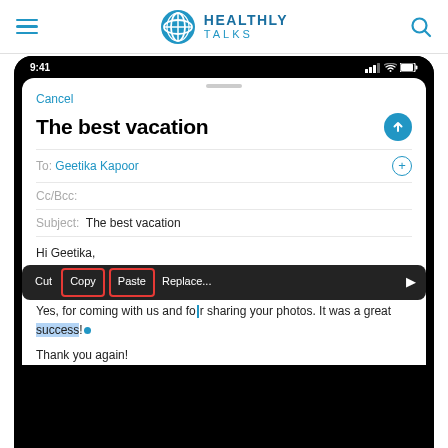[Figure (logo): Healthly Talks logo with globe icon]
[Figure (screenshot): iPhone screenshot of mail compose screen with Cut/Copy/Paste context menu. Subject: The best vacation. To: Geetika Kapoor. Body: Hi Geetika, Yes, ... for coming with us and for sharing your photos. It was a great success! Thank you again!]